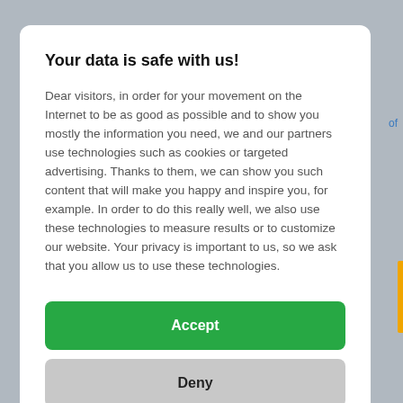Your data is safe with us!
Dear visitors, in order for your movement on the Internet to be as good as possible and to show you mostly the information you need, we and our partners use technologies such as cookies or targeted advertising. Thanks to them, we can show you such content that will make you happy and inspire you, for example. In order to do this really well, we also use these technologies to measure results or to customize our website. Your privacy is important to us, so we ask that you allow us to use these technologies.
Accept
Deny
Set